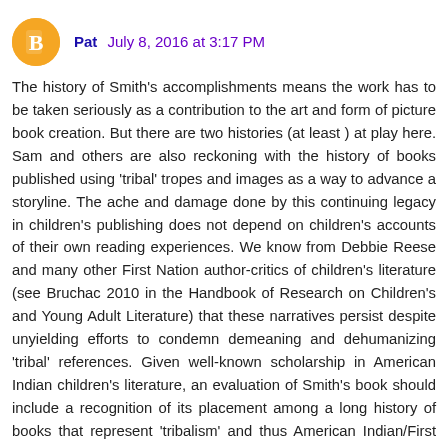Pat  July 8, 2016 at 3:17 PM
The history of Smith's accomplishments means the work has to be taken seriously as a contribution to the art and form of picture book creation. But there are two histories (at least ) at play here. Sam and others are also reckoning with the history of books published using 'tribal' tropes and images as a way to advance a storyline. The ache and damage done by this continuing legacy in children's publishing does not depend on children's accounts of their own reading experiences. We know from Debbie Reese and many other First Nation author-critics of children's literature (see Bruchac 2010 in the Handbook of Research on Children's and Young Adult Literature) that these narratives persist despite unyielding efforts to condemn demeaning and dehumanizing 'tribal' references. Given well-known scholarship in American Indian children's literature, an evaluation of Smith's book should include a recognition of its placement among a long history of books that represent 'tribalism' and thus American Indian/First Nation cultures as naive, historic, and fanciful (see Peter